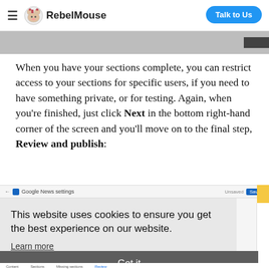RebelMouse — Talk to Us
[Figure (screenshot): Partial screenshot of a web interface with gray bar at top]
When you have your sections complete, you can restrict access to your sections for specific users, if you need to have something private, or for testing. Again, when you're finished, just click Next in the bottom right-hand corner of the screen and you'll move on to the final step, Review and publish:
[Figure (screenshot): Screenshot of Google News settings page with cookie consent overlay. The overlay reads: 'This website uses cookies to ensure you get the best experience on our website. Learn more' with a 'Got it' button bar at the bottom.]